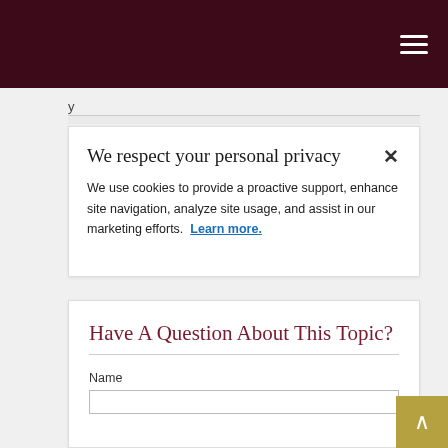Navigation menu header bar
y
We respect your personal privacy ×
We use cookies to provide a proactive support, enhance site navigation, analyze site usage, and assist in our marketing efforts.  Learn more.
Have A Question About This Topic?
Name